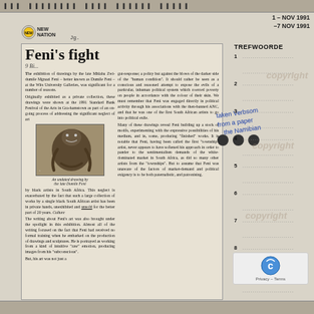1 NOV 1991
NEW NATION  Jg. ... Nr. 6.43 ... P.9 ... Dat. ... 1-7 NOV 1991
Feni's fight
The exhibition of drawings by the late Mhlaba Zwi-dumile Mgnazi Feni – better known as Dumile Feni – at the Wits University Galleries, was significant for a number of reasons.

Originally exhibited as a private collection, these drawings were shown at the 1991 Standard Bank Festival of the Arts in Grahamstown as part of an on-going process of addressing the significant neglect of art by black artists in South Africa. This neglect is exacerbated by the fact that such a large collection of works by a single black South African artist has been in private hands, unexhibited and unseen for the better part of 20 years.

The writing about Feni's art was also brought under the spotlight in this exhibition. Almost all of the writing focused on the fact that Feni had received no formal training when he embarked on the production of drawings and sculptures. He is portrayed as working from a kind of intuitive "raw" emotion, producing images from his "subconscious".

But, his art was not just a gut-response; a plicy but against the blows of the darker side of the "human condition". It should rather be seen as a conscious and reasoned attempt to expose the evils of a particular, inhuman political system which coerced poverty on people in accordance with the colour of their skin. We must remember that Feni was engaged directly in political activity through his associations with the then-banned ANC, and that he was one of the first South African artists to go into political exile.

Many of these drawings reveal Feni building up a stock of motifs, experimenting with the expressive possibilities of his medium, and in, some, producing "finished" works. It is notable that Feni, having been called the first "township" artist, never appears to have softened his approach in order to pander to the sentimentalism demands of the white-dominated market in South Africa, as did so many other artists from the "townships". But to assume that Feni was unaware of the factors of market-demand and political exigency is to be both paternalistic, and patronising.
An undated drawing by the late Dumile Feni
[Figure (illustration): Undated drawing by Dumile Feni showing a figurative artwork]
TREFWOORDE
1  .......................
2  .......................
3  .......................
4  .......................
5  .......................
6  .......................
7  .......................
8  .......................
9  .......................
10  .......................